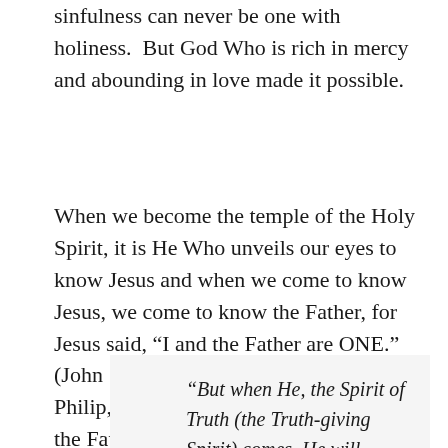sinfulness can never be one with holiness.  But God Who is rich in mercy and abounding in love made it possible.
When we become the temple of the Holy Spirit, it is He Who unveils our eyes to know Jesus and when we come to know Jesus, we come to know the Father, for Jesus said, “I and the Father are ONE.” (John 10:30 NKJV).  He also said to Philip, “He who has seen Me has seen the Father; so how can you say, ‘Show us the Father’? (John 14:9 NKJV)
“But when He, the Spirit of Truth (the Truth-giving Spirit) comes, He will guide you into all the Truth (the